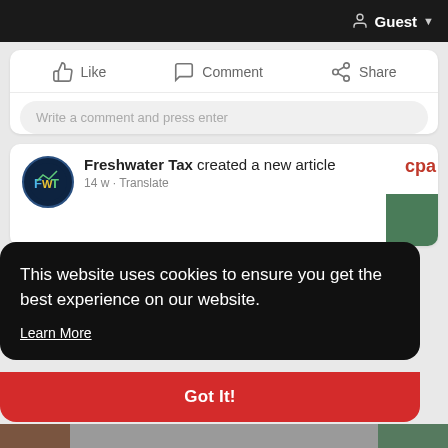Guest
Like   Comment   Share
Write a comment and press enter
Freshwater Tax created a new article
14 w - Translate
This website uses cookies to ensure you get the best experience on our website.
Learn More
Got It!